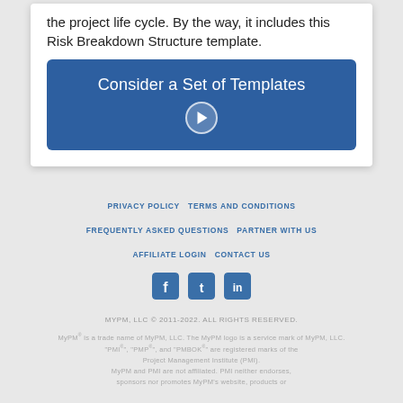the project life cycle. By the way, it includes this Risk Breakdown Structure template.
[Figure (other): Blue button with text 'Consider a Set of Templates' and a right-arrow circle icon]
PRIVACY POLICY   TERMS AND CONDITIONS   FREQUENTLY ASKED QUESTIONS   PARTNER WITH US   AFFILIATE LOGIN   CONTACT US
[Figure (other): Social media icons: Facebook, Twitter, LinkedIn]
MYPM, LLC © 2011-2022. ALL RIGHTS RESERVED.
MyPM® is a trade name of MyPM, LLC. The MyPM logo is a service mark of MyPM, LLC. "PMI®", "PMP®", and "PMBOK®" are registered marks of the Project Management Institute (PMI). MyPM and PMI are not affiliated. PMI neither endorses, sponsors nor promotes MyPM's website, products or services.